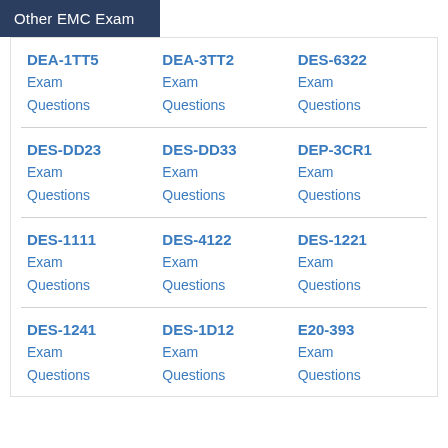Other EMC Exam
DEA-1TT5 Exam Questions
DEA-3TT2 Exam Questions
DES-6322 Exam Questions
DES-DD23 Exam Questions
DES-DD33 Exam Questions
DEP-3CR1 Exam Questions
DES-1111 Exam Questions
DES-4122 Exam Questions
DES-1221 Exam Questions
DES-1241 Exam Questions
DES-1D12 Exam Questions
E20-393 Exam Questions